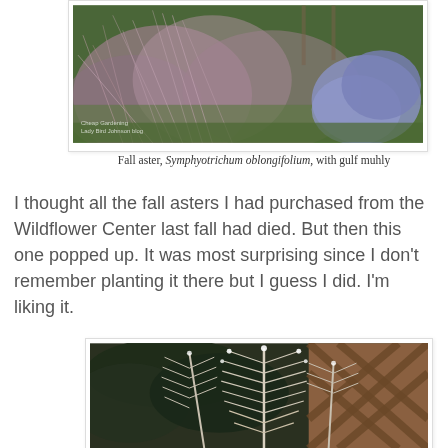[Figure (photo): Fall aster Symphyotrichum oblongifolium with pink muhly grass in a garden setting]
Fall aster, Symphyotrichum oblongifolium, with gulf muhly
I thought all the fall asters I had purchased from the Wildflower Center last fall had died. But then this one popped up. It was most surprising since I don't remember planting it there but I guess I did. I'm liking it.
[Figure (photo): Plant with white feathery flower spikes in front of a wooden lattice fence]